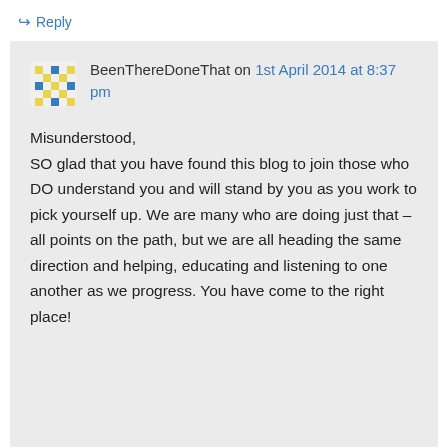↳ Reply
BeenThereDoneThat on 1st April 2014 at 8:37 pm
Misunderstood,
SO glad that you have found this blog to join those who DO understand you and will stand by you as you work to pick yourself up. We are many who are doing just that – all points on the path, but we are all heading the same direction and helping, educating and listening to one another as we progress. You have come to the right place!